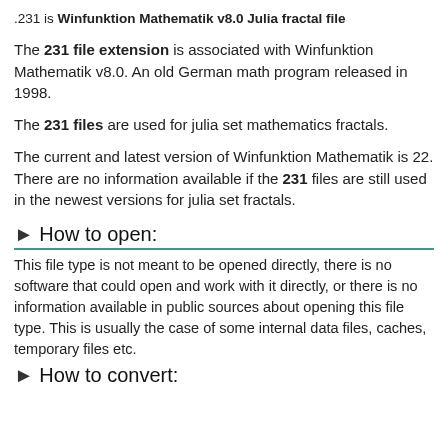.231 is Winfunktion Mathematik v8.0 Julia fractal file
The 231 file extension is associated with Winfunktion Mathematik v8.0. An old German math program released in 1998.
The 231 files are used for julia set mathematics fractals.
The current and latest version of Winfunktion Mathematik is 22. There are no information available if the 231 files are still used in the newest versions for julia set fractals.
► How to open:
This file type is not meant to be opened directly, there is no software that could open and work with it directly, or there is no information available in public sources about opening this file type. This is usually the case of some internal data files, caches, temporary files etc.
► How to convert: